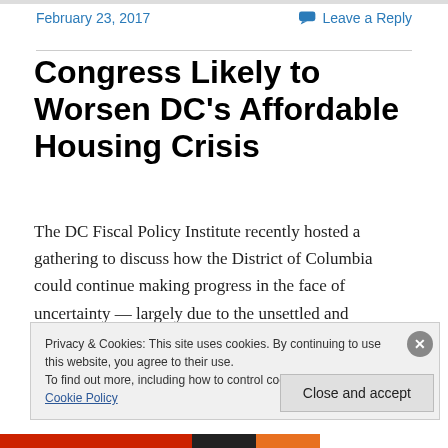February 23, 2017    Leave a Reply
Congress Likely to Worsen DC's Affordable Housing Crisis
The DC Fiscal Policy Institute recently hosted a gathering to discuss how the District of Columbia could continue making progress in the face of uncertainty — largely due to the unsettled and unsettling prospects for programs that
Privacy & Cookies: This site uses cookies. By continuing to use this website, you agree to their use.
To find out more, including how to control cookies, see here: Cookie Policy
[Close and accept]